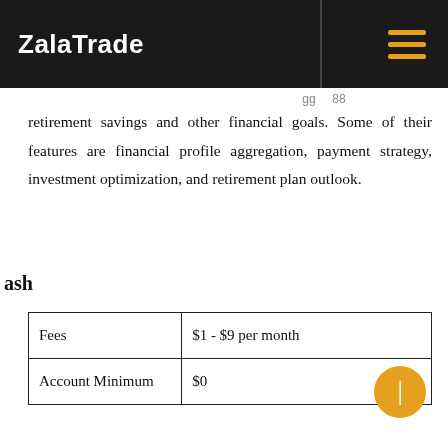ZalaTrade
retirement savings and other financial goals. Some of their features are financial profile aggregation, payment strategy, investment optimization, and retirement plan outlook.
ash
| Fees | $1 - $9 per month |
| Account Minimum | $0 |